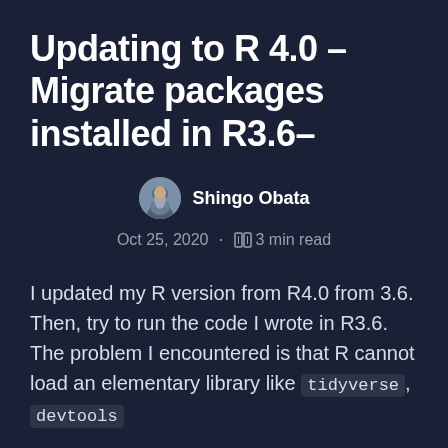Updating to R 4.0 –Migrate packages installed in R3.6–
Shingo Obata
Oct 25, 2020 · 3 min read
I updated my R version from R4.0 from 3.6. Then, try to run the code I wrote in R3.6. The problem I encountered is that R cannot load an elementary library like tidyverse, devtools
The problem is that the compatibility between the